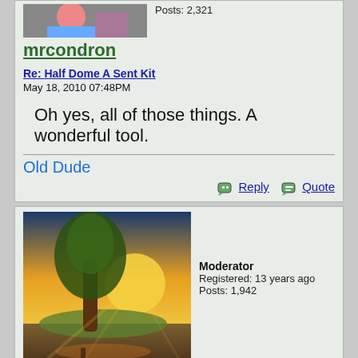[Figure (photo): Small avatar photo of mrcondron, partially visible at top]
Posts: 2,321
mrcondron
Re: Half Dome A Sent Kit
May 18, 2010 07:48PM
Oh yes, all of those things. A wonderful tool.
Old Dude
Reply
Quote
[Figure (photo): Avatar photo of Frank Furter showing a landscape painting with a tree and golden sunset]
Moderator
Registered: 13 years ago
Posts: 1,942
Frank Furter
Re: Half Dome A Sent Kit
May 18, 2010 08:09PM
Quote